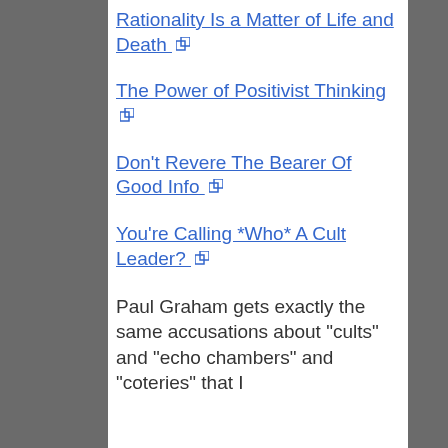Rationality Is a Matter of Life and Death [external link]
The Power of Positivist Thinking [external link]
Don't Revere The Bearer Of Good Info [external link]
You're Calling *Who* A Cult Leader? [external link]
Paul Graham gets exactly the same accusations about "cults" and "echo chambers" and "coteries" that I